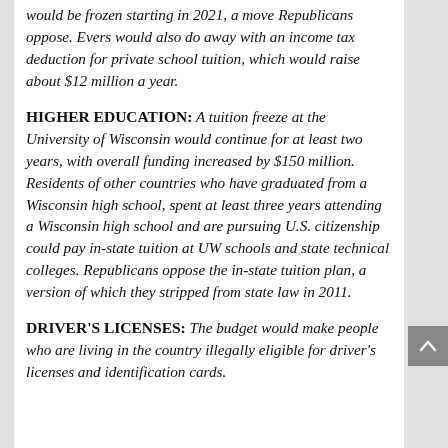would be frozen starting in 2021, a move Republicans oppose. Evers would also do away with an income tax deduction for private school tuition, which would raise about $12 million a year.
HIGHER EDUCATION: A tuition freeze at the University of Wisconsin would continue for at least two years, with overall funding increased by $150 million. Residents of other countries who have graduated from a Wisconsin high school, spent at least three years attending a Wisconsin high school and are pursuing U.S. citizenship could pay in-state tuition at UW schools and state technical colleges. Republicans oppose the in-state tuition plan, a version of which they stripped from state law in 2011.
DRIVER'S LICENSES: The budget would make people who are living in the country illegally eligible for driver's licenses and identification cards.